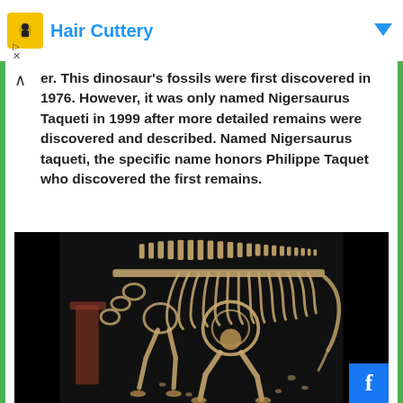Hair Cuttery
er. This dinosaur's fossils were first discovered in 1976. However, it was only named Nigersaurus Taqueti in 1999 after more detailed remains were discovered and described. Named Nigersaurus taqueti, the specific name honors Philippe Taquet who discovered the first remains.
[Figure (photo): A mounted skeleton of Nigersaurus dinosaur displayed against a dark/black background, showing the full skeletal remains from a side angle with ribs, spine, legs and head visible.]